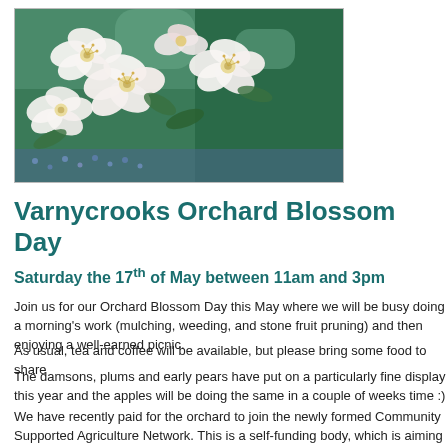[Figure (photo): Close-up photograph of white apple or cherry blossom flowers with yellow stamens against green foliage background]
Varnycrooks Orchard Blossom Day
Saturday the 17th of May between 11am and 3pm
Join us for our Orchard Blossom Day this May where we will be busy doing a morning's work (mulching, weeding, and stone fruit pruning) and then enjoying a well-earned picnic.
As usual, tea and coffee will be available, but please bring some food to share
The damsons, plums and early pears have put on a particularly fine display this year and the apples will be doing the same in a couple of weeks time :)
We have recently paid for the orchard to join the newly formed Community Supported Agriculture Network. This is a self-funding body, which is aiming to continue the work of The Soil Association promoting and assisting CSA projects around the country. Any donations towards this would be welcome!